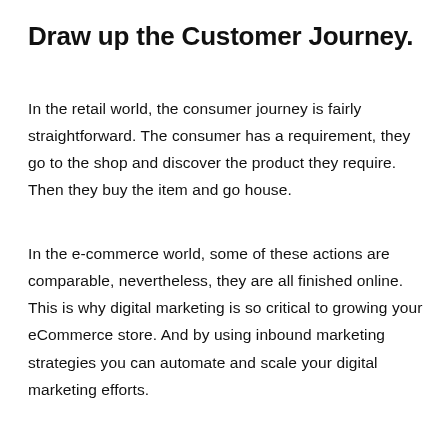Draw up the Customer Journey.
In the retail world, the consumer journey is fairly straightforward. The consumer has a requirement, they go to the shop and discover the product they require. Then they buy the item and go house.
In the e-commerce world, some of these actions are comparable, nevertheless, they are all finished online. This is why digital marketing is so critical to growing your eCommerce store. And by using inbound marketing strategies you can automate and scale your digital marketing efforts.